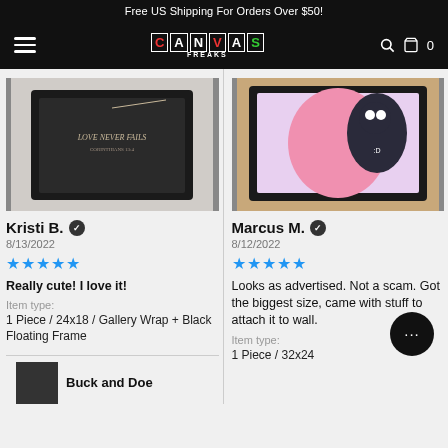Free US Shipping For Orders Over $50!
[Figure (logo): Canvas Freaks logo with colored letters on black navigation bar]
[Figure (photo): Framed canvas print reading LOVE NEVER FAILS on dark background]
[Figure (photo): Framed colorful anime/cartoon canvas print with pink character]
Kristi B. ✓
8/13/2022
★★★★★
Really cute! I love it!
Item type:
1 Piece / 24x18 / Gallery Wrap + Black Floating Frame
Marcus M. ✓
8/12/2022
★★★★★
Looks as advertised.  Not a scam.  Got the biggest size, came with stuff to attach it to wall.
Item type:
1 Piece / 32x24
Buck and Doe